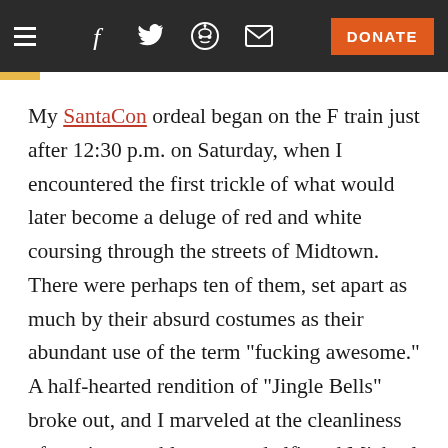≡  f  𝕏  👾  ✉  DONATE
My SantaCon ordeal began on the F train just after 12:30 p.m. on Saturday, when I encountered the first trickle of what would later become a deluge of red and white coursing through the streets of Midtown. There were perhaps ten of them, set apart as much by their absurd costumes as their abundant use of the term "fucking awesome." A half-hearted rendition of "Jingle Bells" broke out, and I marveled at the cleanliness of one impeccably groomed elf's red Michael Kors bag. I knew that in just a few short hours the bag would be flung open, its contents